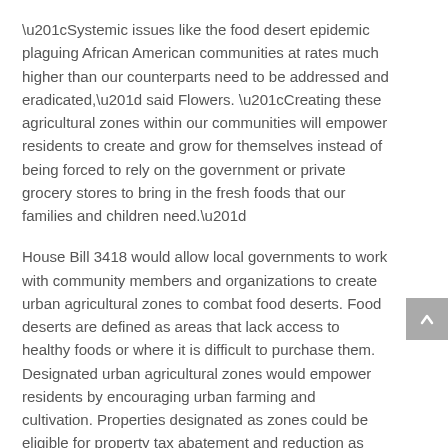“Systemic issues like the food desert epidemic plaguing African American communities at rates much higher than our counterparts need to be addressed and eradicated,” said Flowers. “Creating these agricultural zones within our communities will empower residents to create and grow for themselves instead of being forced to rely on the government or private grocery stores to bring in the fresh foods that our families and children need.”
House Bill 3418 would allow local governments to work with community members and organizations to create urban agricultural zones to combat food deserts. Food deserts are defined as areas that lack access to healthy foods or where it is difficult to purchase them. Designated urban agricultural zones would empower residents by encouraging urban farming and cultivation. Properties designated as zones could be eligible for property tax abatement and reduction as well as discounted rates on water, electricity and resources used toward the cultivation of produce.
“Since my time as the executive director of Grow Greater Englewood, I have been fighting for urban agriculture initiatives help my neighbors learn to make and grow healthy foods,” said state Rep. Sonya Harper, the bill’s principal sponsor. “There is not enough being done to help people in our communities live healthier lives, and this bill helps us finally do that.”